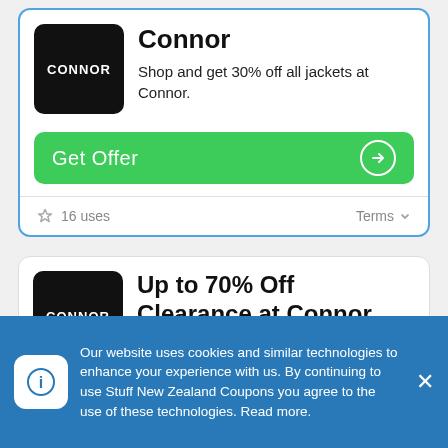[Figure (logo): Connor brand logo — white text CONNOR on black rounded square]
Connor
Shop and get 30% off all jackets at Connor.
Get Offer
16 uses
Terms
[Figure (logo): Connor brand logo — white text CONNOR on black rounded square]
Up to 70% Off Clearance at Connor
Shop and save up to 70% on clearance at Connor.
Our website uses cookies and similar technologies to enhance your experience with us. By continuing to use Stuff New Zealand Coupons you agree to the use of these technologies. Read more.